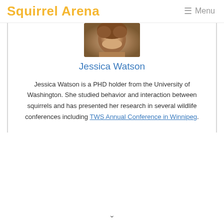Squirrel Arena   ☰ Menu
[Figure (photo): Photo of Jessica Watson, a woman with curly brown hair, cropped to show from forehead to chin]
Jessica Watson
Jessica Watson is a PHD holder from the University of Washington. She studied behavior and interaction between squirrels and has presented her research in several wildlife conferences including TWS Annual Conference in Winnipeg.